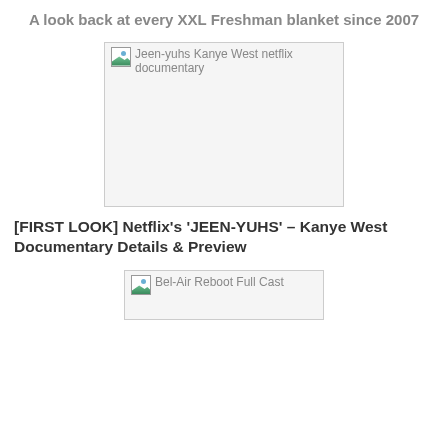A look back at every XXL Freshman blanket since 2007
[Figure (photo): Broken image placeholder labeled 'Jeen-yuhs Kanye West netflix documentary']
[FIRST LOOK] Netflix's 'JEEN-YUHS' – Kanye West Documentary Details & Preview
[Figure (photo): Broken image placeholder labeled 'Bel-Air Reboot Full Cast']